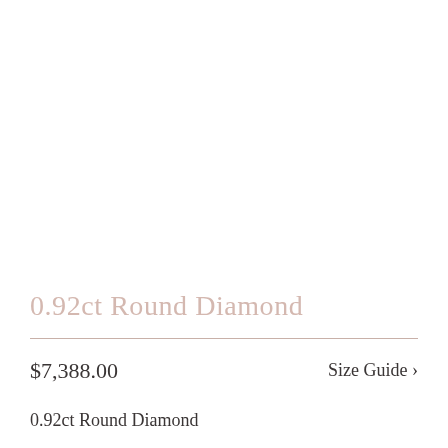0.92ct Round Diamond
$7,388.00
Size Guide >
0.92ct Round Diamond